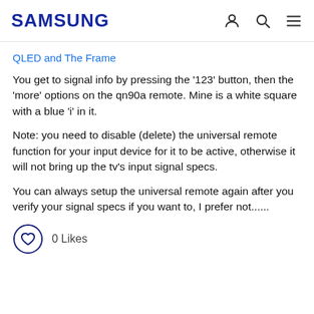SAMSUNG
QLED and The Frame
You get to signal info by pressing the '123' button, then the 'more' options on the qn90a remote. Mine is a white square with a blue 'i' in it.
Note: you need to disable (delete) the universal remote function for your input device for it to be active, otherwise it will not bring up the tv's input signal specs.
You can always setup the universal remote again after you verify your signal specs if you want to, I prefer not......
0 Likes